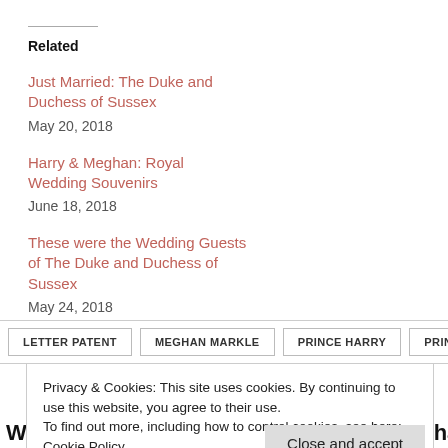Related
Just Married: The Duke and Duchess of Sussex
May 20, 2018
Harry & Meghan: Royal Wedding Souvenirs
June 18, 2018
These were the Wedding Guests of The Duke and Duchess of Sussex
May 24, 2018
LETTER PATENT   MEGHAN MARKLE   PRINCE HARRY   PRINCE
Privacy & Cookies: This site uses cookies. By continuing to use this website, you agree to their use.
To find out more, including how to control cookies, see here:
Cookie Policy
Close and accept
William – What will the Name be? vs Meghan